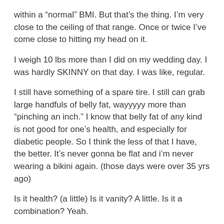within a “normal” BMI. But that’s the thing. I’m very close to the ceiling of that range. Once or twice I’ve come close to hitting my head on it.
I weigh 10 lbs more than I did on my wedding day. I was hardly SKINNY on that day. I was like, regular.
I still have something of a spare tire. I still can grab large handfuls of belly fat, wayyyyy more than “pinching an inch.” I know that belly fat of any kind is not good for one’s health, and especially for diabetic people. So I think the less of that I have, the better. It’s never gonna be flat and i’m never wearing a bikini again. (those days were over 35 yrs ago)
Is it health? (a little) Is it vanity? A little. Is it a combination? Yeah.
That’s what I’m struggling with. I have problems with vanity dieting. Which I have said before. At the same time, I cannot deny the pleasure of shopping for and